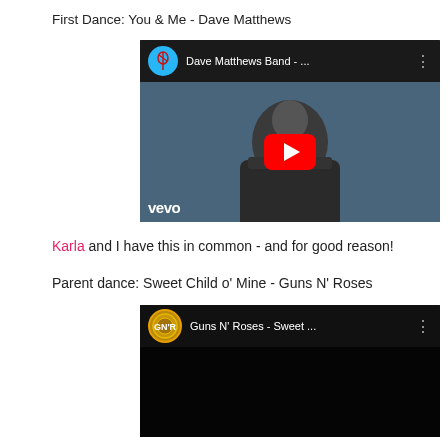First Dance: You & Me - Dave Matthews
[Figure (screenshot): Embedded YouTube video thumbnail showing Dave Matthews Band with a play button overlay. Channel icon shows a dancer figure on blue circle. Title reads 'Dave Matthews Band - ...' with vevo watermark at bottom left.]
Karla and I have this in common - and for good reason!
Parent dance: Sweet Child o' Mine - Guns N' Roses
[Figure (screenshot): Embedded YouTube video thumbnail showing Guns N' Roses channel. Black background with Guns N' Roses circular logo. Title reads 'Guns N' Roses - Sweet ...']